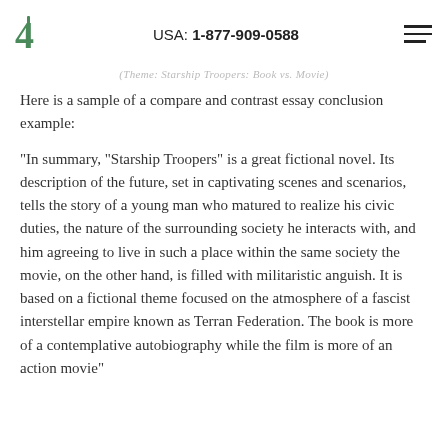USA: 1-877-909-0588
(Theme: Starship Troopers: Book vs. Movie)
Here is a sample of a compare and contrast essay conclusion example:
“In summary, “Starship Troopers” is a great fictional novel. Its description of the future, set in captivating scenes and scenarios, tells the story of a young man who matured to realize his civic duties, the nature of the surrounding society he interacts with, and him agreeing to live in such a place within the same society the movie, on the other hand, is filled with militaristic anguish. It is based on a fictional theme focused on the atmosphere of a fascist interstellar empire known as Terran Federation. The book is more of a contemplative autobiography while the film is more of an action movie"